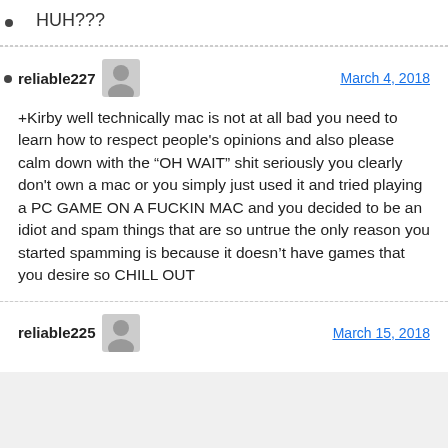HUH???
reliable227
March 4, 2018
+Kirby well technically mac is not at all bad you need to learn how to respect people's opinions and also please calm down with the “OH WAIT” shit seriously you clearly don't own a mac or you simply just used it and tried playing a PC GAME ON A FUCKIN MAC and you decided to be an idiot and spam things that are so untrue the only reason you started spamming is because it doesn’t have games that you desire so CHILL OUT
reliable225
March 15, 2018